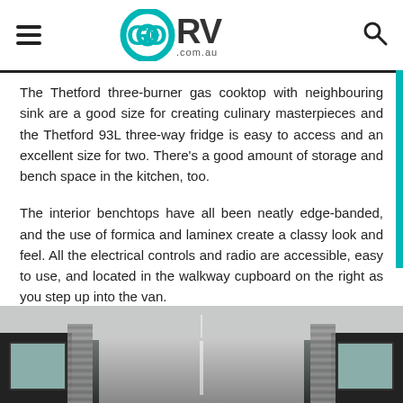GORV .com.au
The Thetford three-burner gas cooktop with neighbouring sink are a good size for creating culinary masterpieces and the Thetford 93L three-way fridge is easy to access and an excellent size for two. There’s a good amount of storage and bench space in the kitchen, too.
The interior benchtops have all been neatly edge-banded, and the use of formica and laminex create a classy look and feel. All the electrical controls and radio are accessible, easy to use, and located in the walkway cupboard on the right as you step up into the van.
[Figure (photo): Interior view of a caravan/RV showing the ceiling, curtains, windows, and interior panels looking towards the front of the van.]